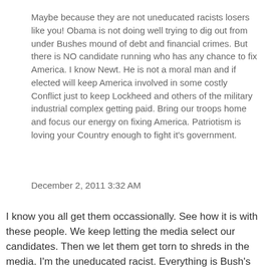Maybe because they are not uneducated racists losers like you! Obama is not doing well trying to dig out from under Bushes mound of debt and financial crimes. But there is NO candidate running who has any chance to fix America. I know Newt. He is not a moral man and if elected will keep America involved in some costly Conflict just to keep Lockheed and others of the military industrial complex getting paid. Bring our troops home and focus our energy on fixing America. Patriotism is loving your Country enough to fight it's government.
December 2, 2011 3:32 AM
I know you all get them occassionally. See how it is with these people. We keep letting the media select our candidates. Then we let them get torn to shreds in the media. I'm the uneducated racist. Everything is Bush's fault. BTW sweetie the posessive for Predident Bush is not Bushes. Please let me explain. Do not confuse racism with